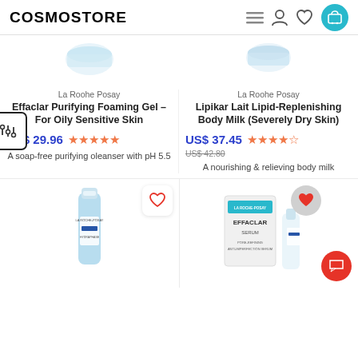COSMOSTORE
La Roohe Posay
Effaclar Purifying Foaming Gel – For Oily Sensitive Skin
US$ 29.96
A soap-free purifying oleanser with pH 5.5
La Roohe Posay
Lipikar Lait Lipid-Replenishing Body Milk (Severely Dry Skin)
US$ 37.45
US$ 42.80
A nourishing & relieving body milk
[Figure (photo): La Roche-Posay Effaclar Purifying Foaming Gel product image]
[Figure (photo): La Roche-Posay Lipikar Lait Body Milk product image]
[Figure (photo): La Roche-Posay Hydraphase face cream product in blue bottle]
[Figure (photo): La Roche-Posay Effaclar Serum set product image]